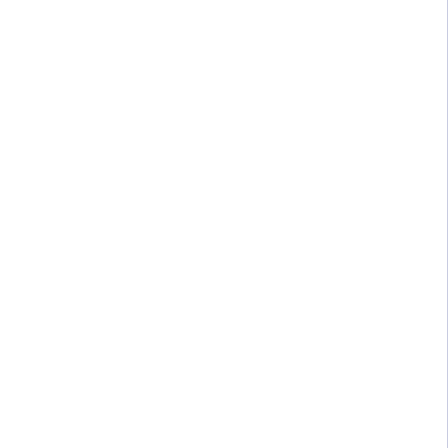arch_perfmon p
tsc_known_freq
pcid sse4_1 ss
cpuid_fault ep
tsc_adjust erm
dtherm arat pl
bugs           : cpu_meltdown s
bogomips       : 5616.00
clflush size   : 64
cache_alignment : 64
address sizes  : 39 bits physic
power management:
Show CPU load by day
Show load of individual cores by
Show number of processes by m
CPU cache
CPU0:
    Level 1, Size 32K, Type Data
    Level 1, Size 32K, Type Instru
    Level 2, Size 256K, Type Unifi
    Level 3, Size 2048K, Type Unif
CPU1:
    Level 1, Size 32K, Type Data
    Level 1, Size 32K, Type Instru
    Level 2, Size 256K, Type Unifi
    Level 3, Size 2048K, Type Unif